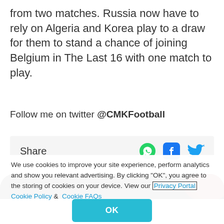from two matches. Russia now have to rely on Algeria and Korea play to a draw for them to stand a chance of joining Belgium in The Last 16 with one match to play.
Follow me on twitter @CMKFootball
Share
[Figure (screenshot): Football/soccer ball banner image, dark background with red ball details]
We use cookies to improve your site experience, perform analytics and show you relevant advertising. By clicking "OK", you agree to the storing of cookies on your device. View our Privacy Portal Cookie Policy & Cookie FAQs
OK